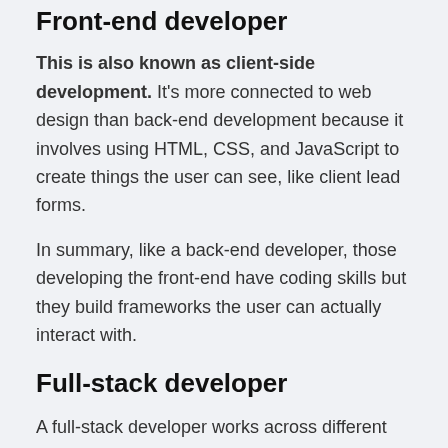Front-end developer
This is also known as client-side development. It's more connected to web design than back-end development because it involves using HTML, CSS, and JavaScript to create things the user can see, like client lead forms.
In summary, like a back-end developer, those developing the front-end have coding skills but they build frameworks the user can actually interact with.
Full-stack developer
A full-stack developer works across different layers – or stacks – including both the front and